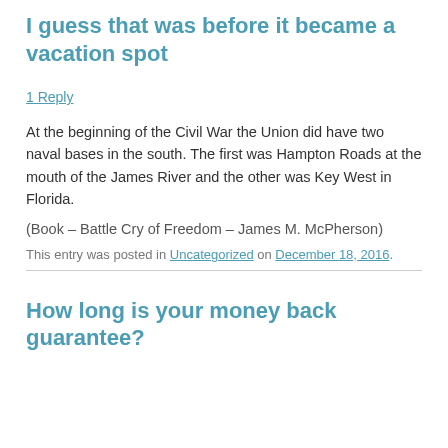I guess that was before it became a vacation spot
1 Reply
At the beginning of the Civil War the Union did have two naval bases in the south. The first was Hampton Roads at the mouth of the James River and the other was Key West in Florida.
(Book – Battle Cry of Freedom – James M. McPherson)
This entry was posted in Uncategorized on December 18, 2016.
How long is your money back guarantee?